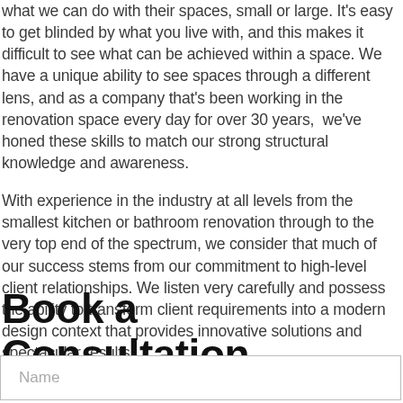what we can do with their spaces, small or large. It's easy to get blinded by what you live with, and this makes it difficult to see what can be achieved within a space. We have a unique ability to see spaces through a different lens, and as a company that's been working in the renovation space every day for over 30 years,  we've honed these skills to match our strong structural knowledge and awareness.

With experience in the industry at all levels from the smallest kitchen or bathroom renovation through to the very top end of the spectrum, we consider that much of our success stems from our commitment to high-level client relationships. We listen very carefully and possess the ability to transform client requirements into a modern design context that provides innovative solutions and spectacular results.
Book a Consultation
Name